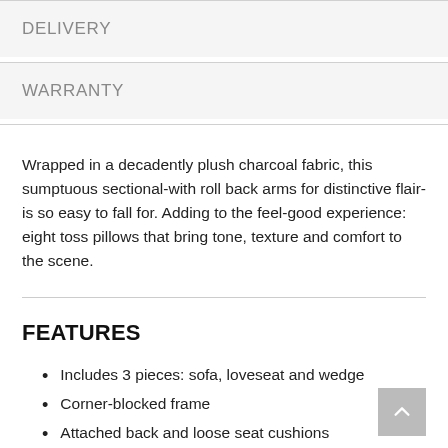DELIVERY
WARRANTY
Wrapped in a decadently plush charcoal fabric, this sumptuous sectional-with roll back arms for distinctive flair-is so easy to fall for. Adding to the feel-good experience: eight toss pillows that bring tone, texture and comfort to the scene.
FEATURES
Includes 3 pieces: sofa, loveseat and wedge
Corner-blocked frame
Attached back and loose seat cushions
High-resiliency foam cushions wrapped in thick poly fiber